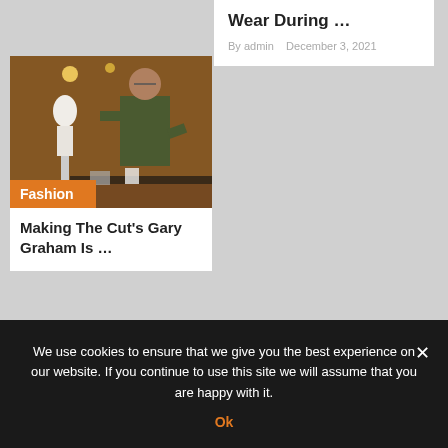Wear During ...
By admin   December 3, 2021
[Figure (photo): A man standing next to a dress mannequin in a fashion studio with brick walls and hanging lights; orange Fashion category badge in the bottom left corner]
Making The Cut's Gary Graham Is ...
We use cookies to ensure that we give you the best experience on our website. If you continue to use this site we will assume that you are happy with it.
Ok